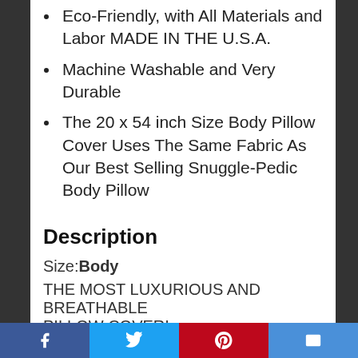Eco-Friendly, with All Materials and Labor MADE IN THE U.S.A.
Machine Washable and Very Durable
The 20 x 54 inch Size Body Pillow Cover Uses The Same Fabric As Our Best Selling Snuggle-Pedic Body Pillow
Description
Size: Body
THE MOST LUXURIOUS AND BREATHABLE PILLOW COVER!